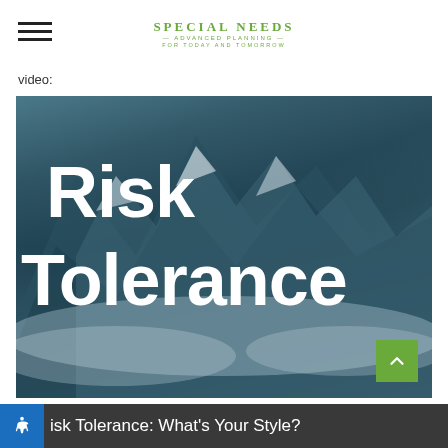SPECIAL NEEDS — ADVANCED PLANNING — FOR TODAY AND TOMORROW
video:
[Figure (photo): Mountain landscape with snow-capped peaks and clouds, overlaid with bold white text reading 'Risk Tolerance']
Risk Tolerance: What's Your Style?